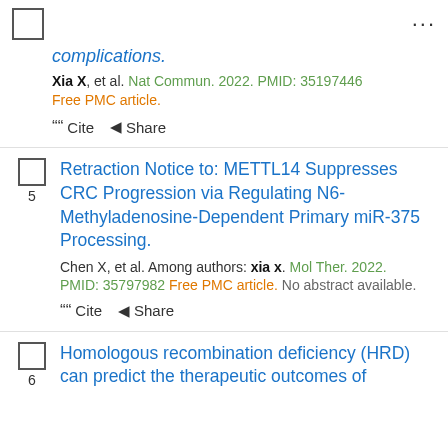☐  ...
complications.
Xia X, et al. Nat Commun. 2022. PMID: 35197446
Free PMC article.
❝ Cite  ◀ Share
Retraction Notice to: METTL14 Suppresses CRC Progression via Regulating N6-Methyladenosine-Dependent Primary miR-375 Processing.
Chen X, et al. Among authors: xia x. Mol Ther. 2022. PMID: 35797982 Free PMC article. No abstract available.
❝ Cite  ◀ Share
Homologous recombination deficiency (HRD) can predict the therapeutic outcomes of